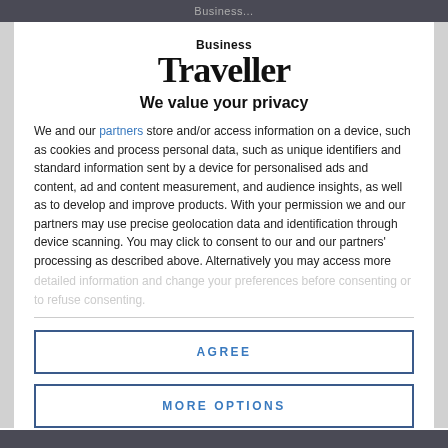Business...
[Figure (logo): Business Traveller magazine logo — 'Business' in small bold sans-serif above 'Traveller' in large bold serif]
We value your privacy
We and our partners store and/or access information on a device, such as cookies and process personal data, such as unique identifiers and standard information sent by a device for personalised ads and content, ad and content measurement, and audience insights, as well as to develop and improve products. With your permission we and our partners may use precise geolocation data and identification through device scanning. You may click to consent to our and our partners' processing as described above. Alternatively you may access more detailed information and change your preferences before consenting or to refuse consenting.
AGREE
MORE OPTIONS